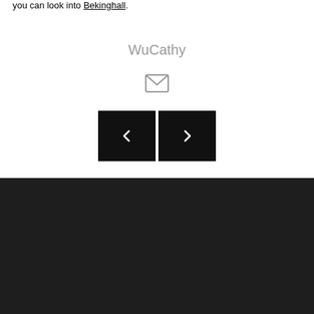you can look into Bekinghall.
WuCathy
[Figure (other): Email envelope icon]
[Figure (other): Navigation left and right arrow buttons]
FOLLOW US
[Figure (other): Social media icons: Facebook, Instagram, YouTube circles]
[Figure (other): Back to top circular button with upward arrow]
[Figure (other): WhatsApp icon button]
INFORMATION